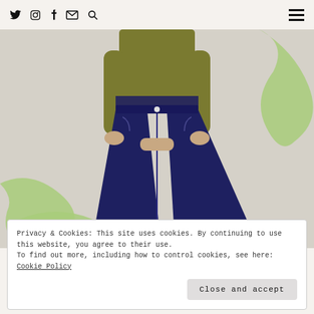Twitter Instagram Facebook Mail Search | Menu
[Figure (photo): Woman wearing dark navy blue high-waisted flared jeans and an olive green long-sleeve top, with decorative green paint splash shapes in the background]
Privacy & Cookies: This site uses cookies. By continuing to use this website, you agree to their use.
To find out more, including how to control cookies, see here:
Cookie Policy
Close and accept